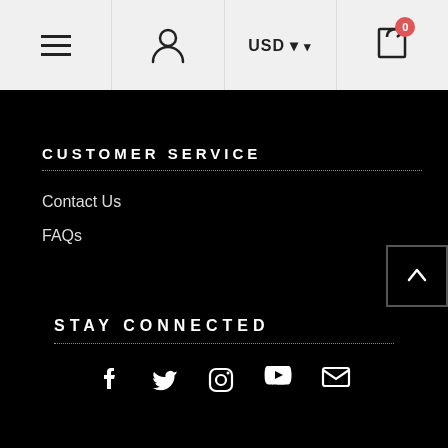Navigation bar with hamburger menu, user icon, USD currency selector, and cart with 0 items
CUSTOMER SERVICE
Contact Us
FAQs
STAY CONNECTED
[Figure (infographic): Social media icons: Facebook, Twitter, Instagram, YouTube, Email]